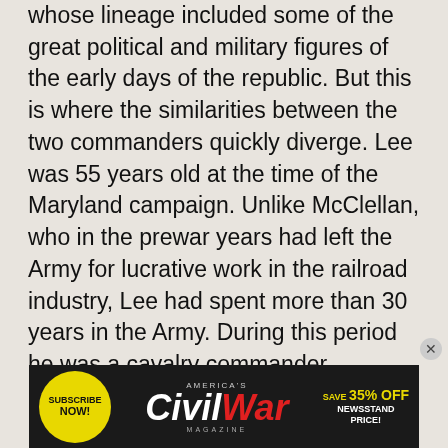whose lineage included some of the great political and military figures of the early days of the republic. But this is where the similarities between the two commanders quickly diverge. Lee was 55 years old at the time of the Maryland campaign. Unlike McClellan, who in the prewar years had left the Army for lucrative work in the railroad industry, Lee had spent more than 30 years in the Army. During this period he was a cavalry commander, engineer on many of the Atlantic coastal fortifications, superintendent at West Point and a staff officer in the Mexican War. It was in the latter position that Lee gained the valuable experience needed to lead armies in the Civil War. While McClellan often quarreled
[Figure (other): Advertisement banner for America's Civil War Magazine. Yellow circular 'Subscribe Now!' button on left, large bold 'Civil War' text in center (Civil in white, War in red), 'Save 35% Off Newsstand Price!' text on right in yellow/white.]